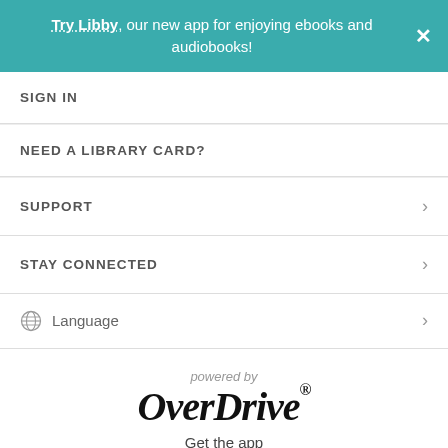Try Libby, our new app for enjoying ebooks and audiobooks!
SIGN IN
NEED A LIBRARY CARD?
SUPPORT
STAY CONNECTED
Language
powered by
OverDrive®
Get the app